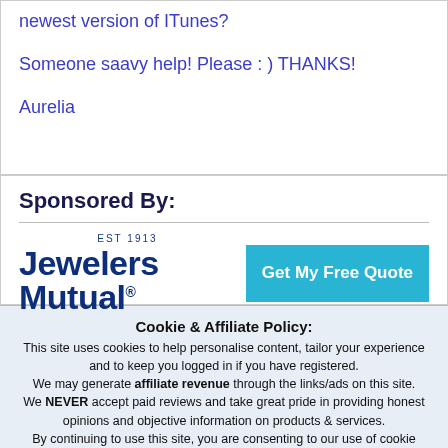newest version of ITunes?
Someone saavy help! Please : ) THANKS!
Aurelia
Sponsored By:
[Figure (logo): Jewelers Mutual logo with EST 1913 text and Get My Free Quote button]
Cookie & Affiliate Policy: This site uses cookies to help personalise content, tailor your experience and to keep you logged in if you have registered. We may generate affiliate revenue through the links/ads on this site. We NEVER accept paid reviews and take great pride in providing honest opinions and objective information on products & services. By continuing to use this site, you are consenting to our use of cookie policy.